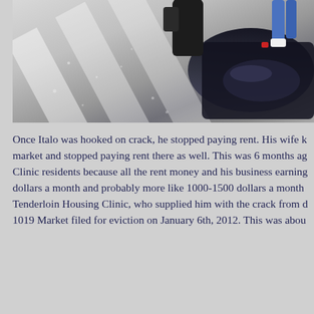[Figure (photo): Aerial/overhead view of people standing near a car on a street with crosswalk markings]
Once Italo was hooked on crack, he stopped paying rent. His wife k market and stopped paying rent there as well. This was 6 months ag Clinic residents because all the rent money and his business earning dollars a month and probably more like 1000-1500 dollars a month Tenderloin Housing Clinic, who supplied him with the crack from d 1019 Market filed for eviction on January 6th, 2012. This was abou